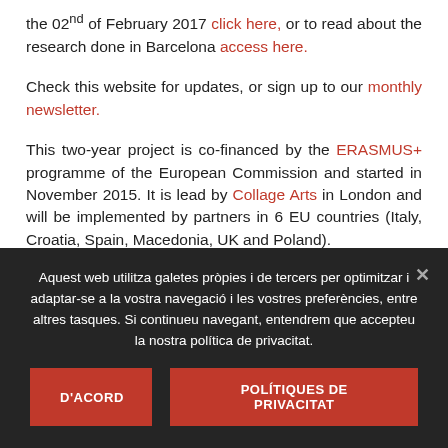the 02nd of February 2017 click here, or to read about the research done in Barcelona access here.
Check this website for updates, or sign up to our monthly newsletter.
This two-year project is co-financed by the ERASMUS+ programme of the European Commission and started in November 2015. It is lead by Collage Arts in London and will be implemented by partners in 6 EU countries (Italy, Croatia, Spain, Macedonia, UK and Poland).
Aquest web utilitza galetes pròpies i de tercers per optimitzar i adaptar-se a la vostra navegació i les vostres preferències, entre altres tasques. Si continueu navegant, entendrem que accepteu la nostra política de privacitat.